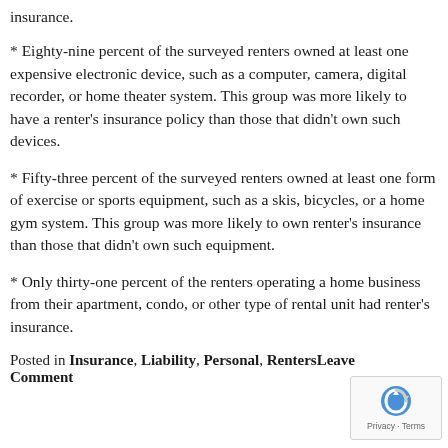insurance.
* Eighty-nine percent of the surveyed renters owned at least one expensive electronic device, such as a computer, camera, digital recorder, or home theater system. This group was more likely to have a renter's insurance policy than those that didn't own such devices.
* Fifty-three percent of the surveyed renters owned at least one form of exercise or sports equipment, such as a skis, bicycles, or a home gym system. This group was more likely to own renter's insurance than those that didn't own such equipment.
* Only thirty-one percent of the renters operating a home business from their apartment, condo, or other type of rental unit had renter's insurance.
Posted in Insurance, Liability, Personal, RentersLeave a Comment